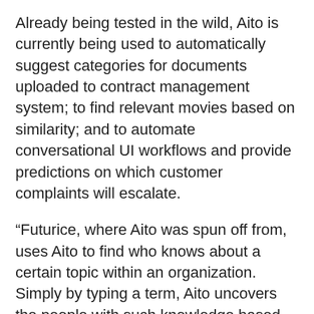Already being tested in the wild, Aito is currently being used to automatically suggest categories for documents uploaded to contract management system; to find relevant movies based on similarity; and to automate conversational UI workflows and provide predictions on which customer complaints will escalate.
“Futurice, where Aito was spun off from, uses Aito to find who knows about a certain topic within an organization. Simply by typing a term, Aito uncovers the people with such knowledge based on several internal data sources, with no taxonomy or tagging needed,” says Grönfors.
Meanwhile, the Aito business model is a